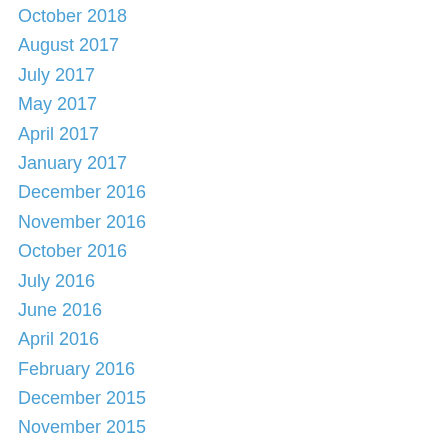October 2018
August 2017
July 2017
May 2017
April 2017
January 2017
December 2016
November 2016
October 2016
July 2016
June 2016
April 2016
February 2016
December 2015
November 2015
September 2015
August 2015
July 2015
June 2015
April 2015